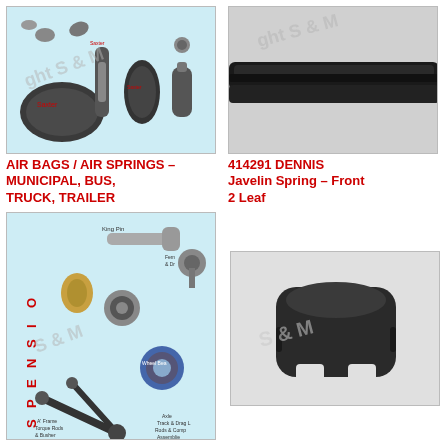[Figure (photo): Collection of air bags and air springs components for municipal, bus, truck, and trailer use, displayed on a light blue background with S&M watermark]
[Figure (photo): Close-up of a black cylindrical rod or spring component (DENNIS Javelin Spring Front 2 Leaf) on gray background with S&M watermark]
AIR BAGS / AIR SPRINGS – MUNICIPAL, BUS, TRUCK, TRAILER
414291 DENNIS Javelin Spring – Front 2 Leaf
[Figure (photo): Suspension components display including king pins, A-frame, torque rods, bushes, axle, track & drag link, wheel bearing assemblies on light blue background with SUSPENSION text on left side and S&M watermark]
[Figure (photo): A black rubber bump stop / jounce bumper component on gray background with S&M watermark]